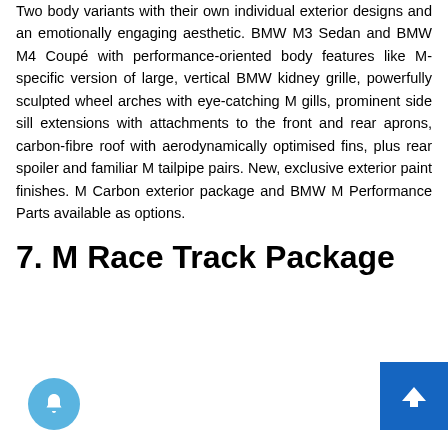Two body variants with their own individual exterior designs and an emotionally engaging aesthetic. BMW M3 Sedan and BMW M4 Coupé with performance-oriented body features like M-specific version of large, vertical BMW kidney grille, powerfully sculpted wheel arches with eye-catching M gills, prominent side sill extensions with attachments to the front and rear aprons, carbon-fibre roof with aerodynamically optimised fins, plus rear spoiler and familiar M tailpipe pairs. New, exclusive exterior paint finishes. M Carbon exterior package and BMW M Performance Parts available as options.
7. M Race Track Package